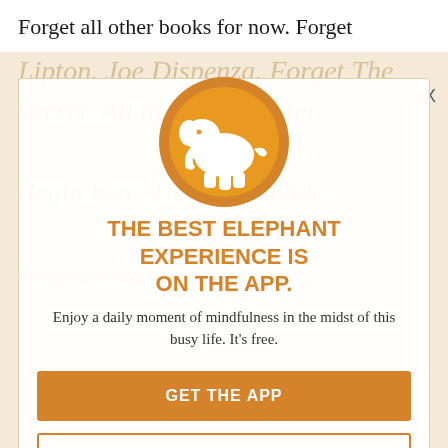Forget all other books for now. Forget
[Figure (logo): Elephant Journal app logo: white elephant silhouette on orange/gold circle]
THE BEST ELEPHANT EXPERIENCE IS ON THE APP.
Enjoy a daily moment of mindfulness in the midst of this busy life. It's free.
GET THE APP
OPEN IN APP